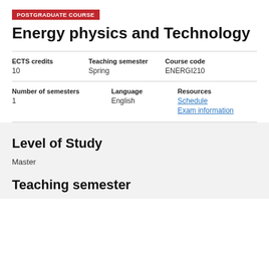POSTGRADUATE COURSE
Energy physics and Technology
| ECTS credits | Teaching semester | Course code |
| --- | --- | --- |
| 10 | Spring | ENERGI210 |
| Number of semesters | Language | Resources |
| --- | --- | --- |
| 1 | English | Schedule
Exam information |
Level of Study
Master
Teaching semester